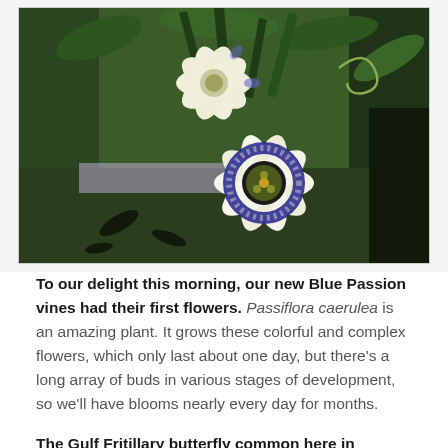[Figure (photo): Close-up photograph of Passiflora caerulea (Blue Passion flower) blooms with white and blue-purple petals, dark center, green leaves and tendrils in the background.]
To our delight this morning, our new Blue Passion vines had their first flowers. Passiflora caerulea is an amazing plant. It grows these colorful and complex flowers, which only last about one day, but there's a long array of buds in various stages of development, so we'll have blooms nearly every day for months.
The Gulf Fritillary butterfly common here in Phoenix (Agraulis vanillae) lays its eggs on the passion vine. The